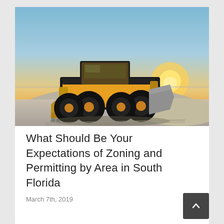[Figure (photo): A yellow front-end loader / bulldozer parked on a sandy beach at sunset, with a warm orange sky in the background and sandy ground in the foreground.]
What Should Be Your Expectations of Zoning and Permitting by Area in South Florida
March 7th, 2019